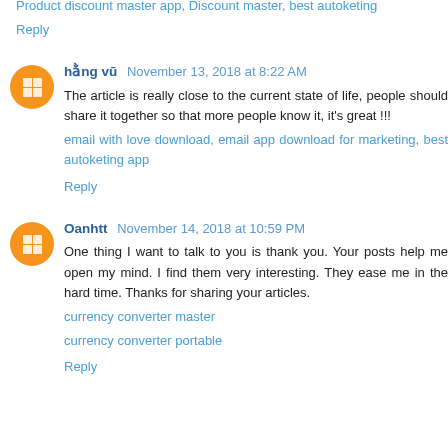Product discount master app, Discount master, best autoketing
Reply
hằng vũ  November 13, 2018 at 8:22 AM
The article is really close to the current state of life, people should share it together so that more people know it, it's great !!!
email with love download, email app download for marketing, best autoketing app
Reply
Oanhtt  November 14, 2018 at 10:59 PM
One thing I want to talk to you is thank you. Your posts help me open my mind. I find them very interesting. They ease me in the hard time. Thanks for sharing your articles.
currency converter master
currency converter portable
Reply